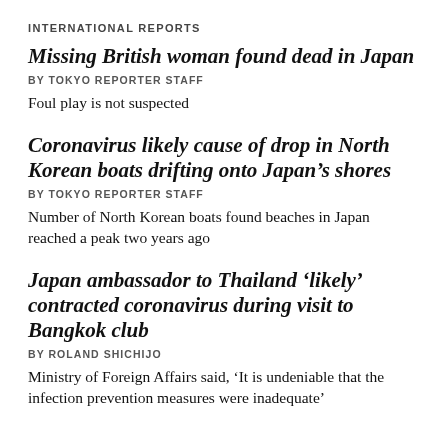INTERNATIONAL REPORTS
Missing British woman found dead in Japan
BY TOKYO REPORTER STAFF
Foul play is not suspected
Coronavirus likely cause of drop in North Korean boats drifting onto Japan’s shores
BY TOKYO REPORTER STAFF
Number of North Korean boats found beaches in Japan reached a peak two years ago
Japan ambassador to Thailand ‘likely’ contracted coronavirus during visit to Bangkok club
BY ROLAND SHICHIJO
Ministry of Foreign Affairs said, ‘It is undeniable that the infection prevention measures were inadequate’